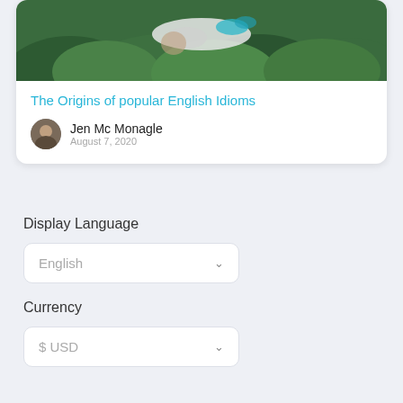[Figure (photo): Top portion of a blog post card showing a nature/grass outdoor photo cropped at top]
The Origins of popular English Idioms
Jen Mc Monagle
August 7, 2020
Display Language
[Figure (screenshot): Dropdown selector showing 'English' with a chevron arrow]
Currency
[Figure (screenshot): Dropdown selector showing '$ USD' with a chevron arrow]